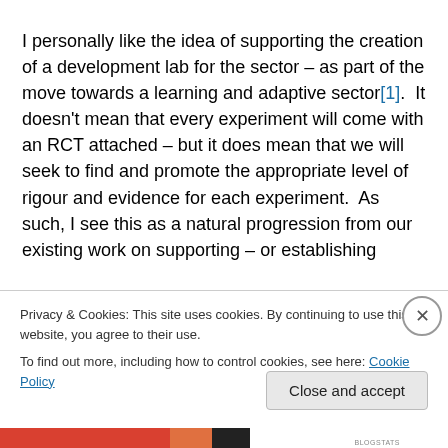I personally like the idea of supporting the creation of a development lab for the sector – as part of the move towards a learning and adaptive sector[1].  It doesn't mean that every experiment will come with an RCT attached – but it does mean that we will seek to find and promote the appropriate level of rigour and evidence for each experiment.  As such, I see this as a natural progression from our existing work on supporting – or establishing
Privacy & Cookies: This site uses cookies. By continuing to use this website, you agree to their use.
To find out more, including how to control cookies, see here: Cookie Policy